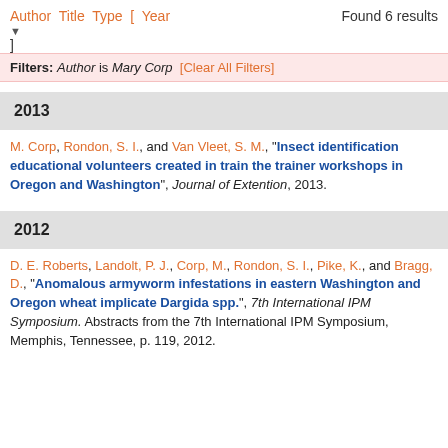Author Title Type [ Year   Found 6 results
]
Filters: Author is Mary Corp  [Clear All Filters]
2013
M. Corp, Rondon, S. I., and Van Vleet, S. M., "Insect identification educational volunteers created in train the trainer workshops in Oregon and Washington", Journal of Extention, 2013.
2012
D. E. Roberts, Landolt, P. J., Corp, M., Rondon, S. I., Pike, K., and Bragg, D., "Anomalous armyworm infestations in eastern Washington and Oregon wheat implicate Dargida spp.", 7th International IPM Symposium. Abstracts from the 7th International IPM Symposium, Memphis, Tennessee, p. 119, 2012.